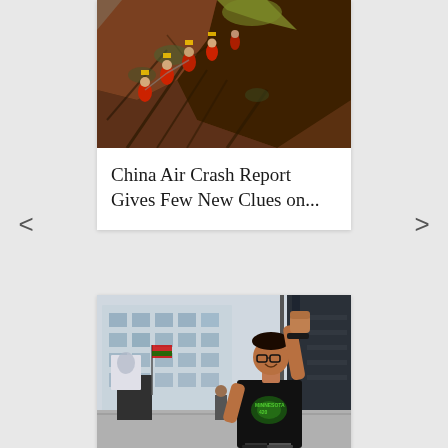[Figure (photo): Rescue workers in red uniforms climbing a muddy hillside with debris and tree roots, responding to a crash or disaster site]
China Air Crash Report Gives Few New Clues on...
[Figure (photo): A man in a black cannabis-themed t-shirt raising his fist in the air at a protest outside a modern office building; other protesters visible in background holding signs and flags]